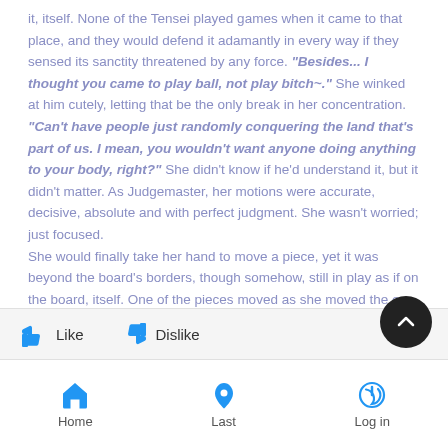it, itself. None of the Tensei played games when it came to that place, and they would defend it adamantly in every way if they sensed its sanctity threatened by any force. "Besides... I thought you came to play ball, not play bitch~." She winked at him cutely, letting that be the only break in her concentration. "Can't have people just randomly conquering the land that's part of us. I mean, you wouldn't want anyone doing anything to your body, right?" She didn't know if he'd understand it, but it didn't matter. As Judgemaster, her motions were accurate, decisive, absolute and with perfect judgment. She wasn't worried; just focused.

She would finally take her hand to move a piece, yet it was beyond the board's borders, though somehow, still in play as if on the board, itself. One of the pieces moved as she moved the one outside of the playing field, as well.
[Figure (other): Like and Dislike buttons and scroll-to-top button]
Home | Last | Log in